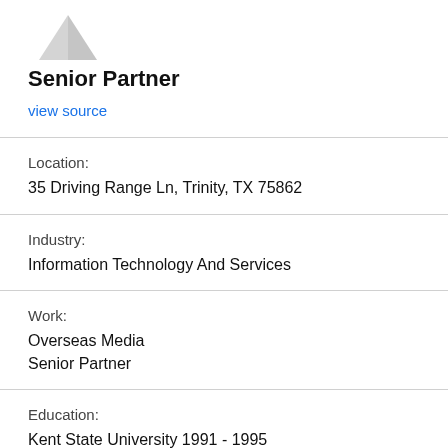[Figure (illustration): Gray placeholder avatar icon showing two overlapping triangular shapes representing a generic person silhouette]
Senior Partner
view source
Location:
35 Driving Range Ln, Trinity, TX 75862
Industry:
Information Technology And Services
Work:
Overseas Media
Senior Partner
Education:
Kent State University 1991 - 1995